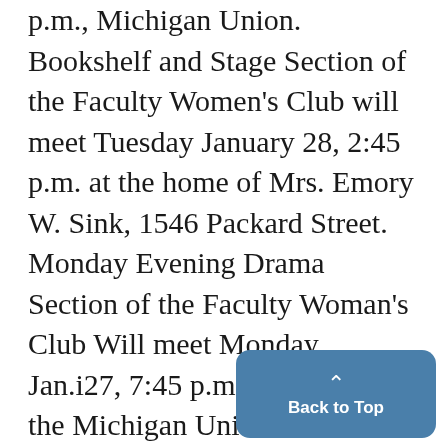p.m., Michigan Union. Bookshelf and Stage Section of the Faculty Women's Club will meet Tuesday January 28, 2:45 p.m. at the home of Mrs. Emory W. Sink, 1546 Packard Street. Monday Evening Drama Section of the Faculty Woman's Club Will meet Monday, Jan.i27, 7:45 p.m., third floor of the Michigan Union. Members may bring guests." Michigan Dames Homemaking Group will meet at the home of Clifford Kiehn, 712 E. Ann Stree